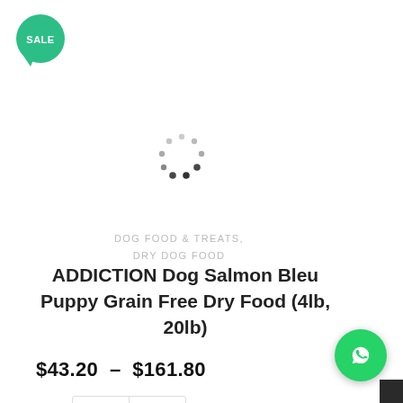[Figure (other): Green SALE badge in speech bubble shape (circle with tail at bottom-left), white text reading SALE]
[Figure (other): Circular loading spinner animation dots arranged in a ring]
DOG FOOD & TREATS, DRY DOG FOOD
ADDICTION Dog Salmon Bleu Puppy Grain Free Dry Food (4lb, 20lb)
$43.20 – $161.80
[Figure (other): Two action buttons: info icon (i) and heart/wishlist icon]
[Figure (other): WhatsApp chat button - green circle with WhatsApp phone icon, bottom-right corner]